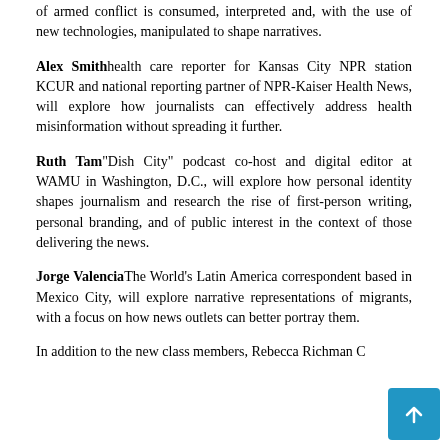of armed conflict is consumed, interpreted and, with the use of new technologies, manipulated to shape narratives.
Alex Smith health care reporter for Kansas City NPR station KCUR and national reporting partner of NPR-Kaiser Health News, will explore how journalists can effectively address health misinformation without spreading it further.
Ruth Tam "Dish City" podcast co-host and digital editor at WAMU in Washington, D.C., will explore how personal identity shapes journalism and research the rise of first-person writing, personal branding, and of public interest in the context of those delivering the news.
Jorge Valencia The World's Latin America correspondent based in Mexico City, will explore narrative representations of migrants, with a focus on how news outlets can better portray them.
In addition to the new class members, Rebecca Richman C